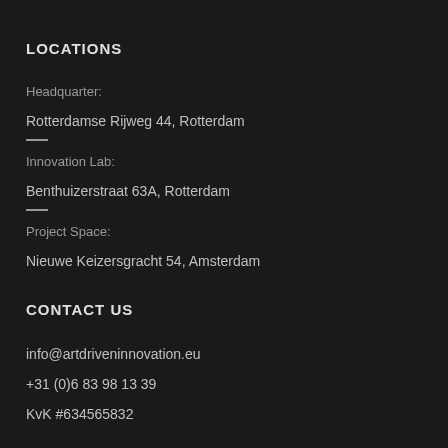LOCATIONS
Headquarter:
Rotterdamse Rijweg 44, Rotterdam
Innovation Lab:
Benthuizerstraat 63A, Rotterdam
Project Space:
Nieuwe Keizersgracht 54, Amsterdam
CONTACT US
info@artdriveninnovation.eu
+31 (0)6 83 98 13 39
KvK #634565832